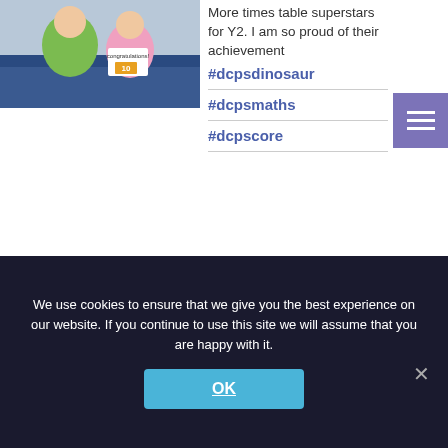[Figure (photo): Two children holding certificates/signs, one wearing green, one wearing pink, in a school setting]
More times table superstars for Y2. I am so proud of their achievement #dcpsdinosaur
#dcpsmaths
#dcpscore
👍 8   ↪ 0   💬 0
View on Facebook · Share
We use cookies to ensure that we give you the best experience on our website. If you continue to use this site we will assume that you are happy with it.
OK